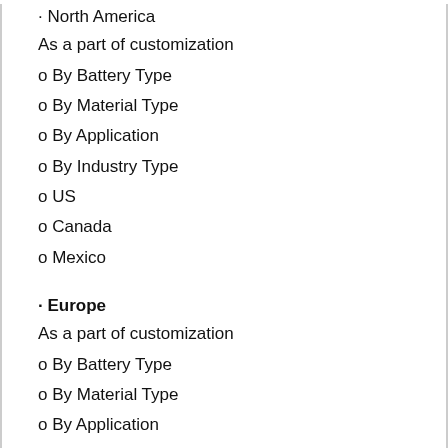· North America
As a part of customization
o By Battery Type
o By Material Type
o By Application
o By Industry Type
o US
o Canada
o Mexico
· Europe
As a part of customization
o By Battery Type
o By Material Type
o By Application
o By Industry Type
o UK
o Germany